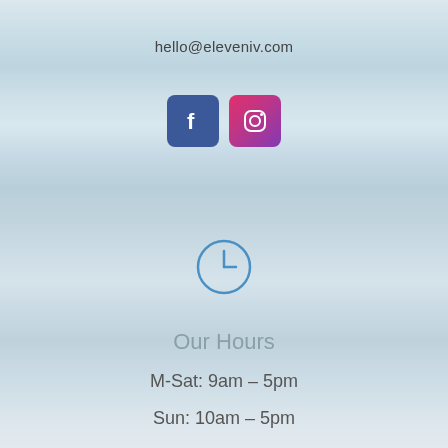hello@eleveniv.com
[Figure (illustration): Facebook and Instagram social media icons side by side]
[Figure (illustration): Clock icon circle with hour and minute hands]
Our Hours
M-Sat: 9am – 5pm
Sun: 10am – 5pm
Or By Appointment